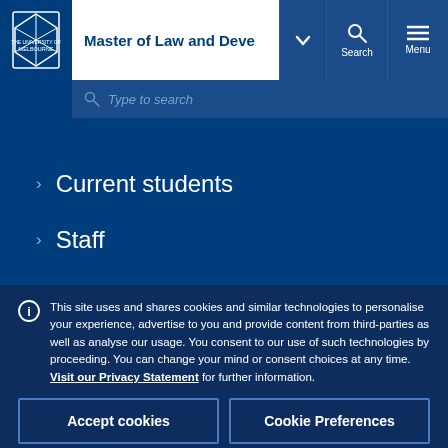Master of Law and Deve[lopment] — University of Melbourne navigation header
Type to search
Current students
Staff
This site uses and shares cookies and similar technologies to personalise your experience, advertise to you and provide content from third-parties as well as analyse our usage. You consent to our use of such technologies by proceeding. You can change your mind or consent choices at any time. Visit our Privacy Statement for further information.
Accept cookies
Cookie Preferences